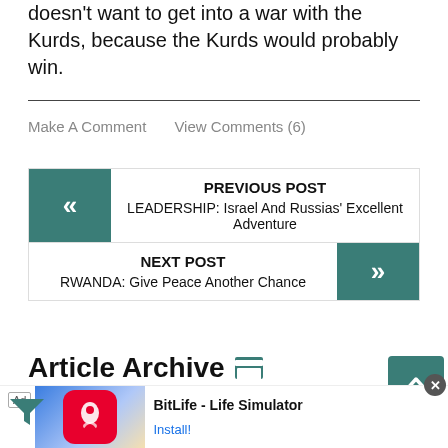doesn't want to get into a war with the Kurds, because the Kurds would probably win.
Make A Comment   View Comments (6)
« PREVIOUS POST
LEADERSHIP: Israel And Russias' Excellent Adventure
NEXT POST »
RWANDA: Give Peace Another Chance
Article Archive
Iraq: Current | 2021 | 2020 | 2019 | 2018 | 2017 | 2016 | 2015 | 2014 | 2013 | 2012 | 2011 | 2010 | 2009 | 2008 | 2...